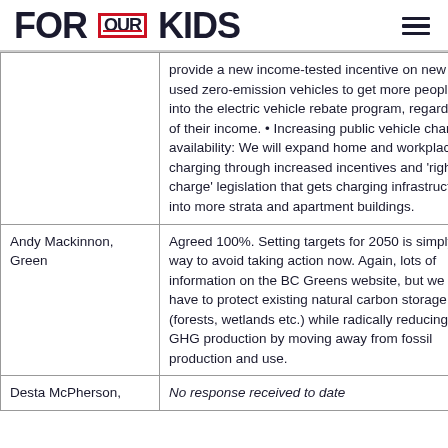FOR OUR KIDS
|  |  |
| --- | --- |
|  | provide a new income-tested incentive on new and used zero-emission vehicles to get more people into the electric vehicle rebate program, regardless of their income. • Increasing public vehicle charging availability: We will expand home and workplace charging through increased incentives and 'right-to-charge' legislation that gets charging infrastructure into more strata and apartment buildings. |
| Andy Mackinnon, Green | Agreed 100%. Setting targets for 2050 is simply a way to avoid taking action now. Again, lots of information on the BC Greens website, but we have to protect existing natural carbon storage (forests, wetlands etc.) while radically reducing GHG production by moving away from fossil production and use. |
| Desta McPherson, | No response received to date |